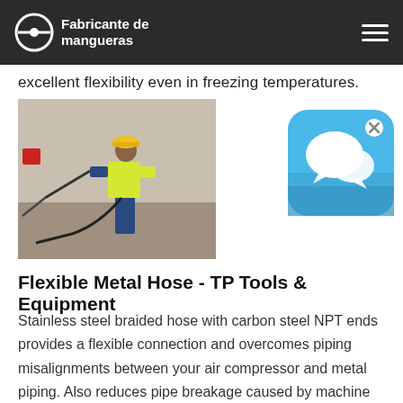Fabricante de mangueras
excellent flexibility even in freezing temperatures.
[Figure (photo): Worker in yellow safety vest and hard hat using a pressure washer in an industrial setting]
[Figure (illustration): Blue chat/messaging app widget icon with white speech bubbles and an X close button]
Flexible Metal Hose - TP Tools & Equipment
Stainless steel braided hose with carbon steel NPT ends provides a flexible connection and overcomes piping misalignments between your air compressor and metal piping. Also reduces pipe breakage caused by machine vibration. Has male pipe threads each end. Max 500 psi.